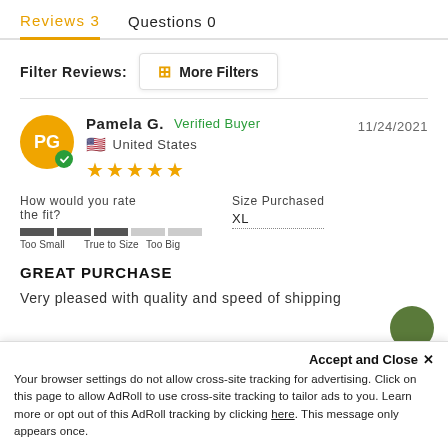Reviews 3   Questions 0
Filter Reviews:
More Filters
Pamela G.  Verified Buyer   11/24/2021
United States
★★★★★
How would you rate the fit?
Too Small   True to Size   Too Big
Size Purchased
XL
GREAT PURCHASE
Very pleased with quality and speed of shipping
Accept and Close ✕
Your browser settings do not allow cross-site tracking for advertising. Click on this page to allow AdRoll to use cross-site tracking to tailor ads to you. Learn more or opt out of this AdRoll tracking by clicking here. This message only appears once.